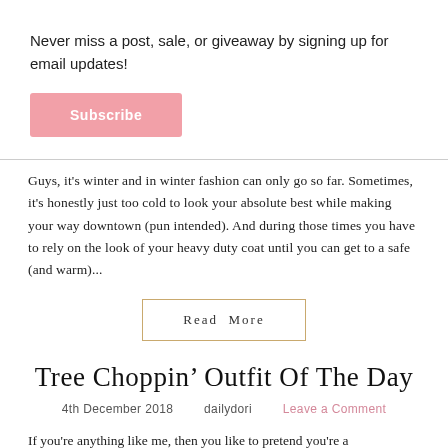Never miss a post, sale, or giveaway by signing up for email updates!
Subscribe
Guys, it's winter and in winter fashion can only go so far. Sometimes, it's honestly just too cold to look your absolute best while making your way downtown (pun intended). And during those times you have to rely on the look of your heavy duty coat until you can get to a safe (and warm)...
Read More
Tree Choppin' Outfit Of The Day
4th December 2018  dailydori  Leave a Comment
If you're anything like me, then you like to pretend you're a